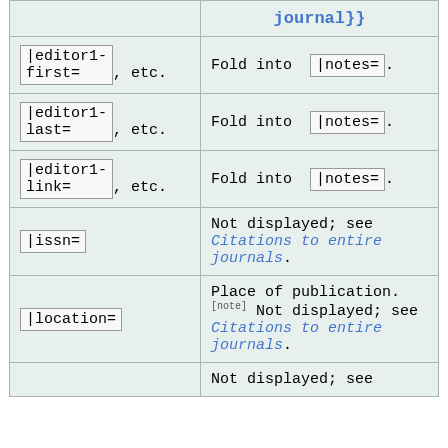| Parameter | Description |
| --- | --- |
| journal}} |  |
| |editor1-first= , etc. | Fold into |notes= . |
| |editor1-last= , etc. | Fold into |notes= . |
| |editor1-link= , etc. | Fold into |notes= . |
| |issn= | Not displayed; see Citations to entire journals. |
| |location= | Place of publication.[note] Not displayed; see Citations to entire journals. |
|  | Not displayed; see |